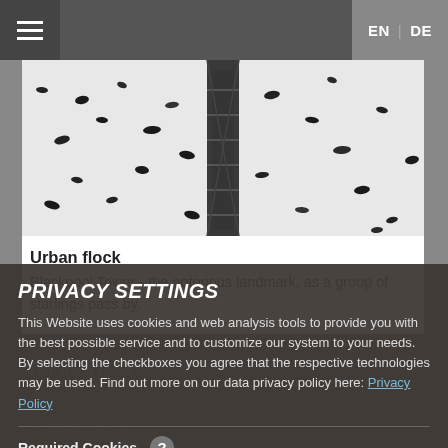EN | DE
[Figure (photo): Black and white photo of Blackpool Tower with a murmuration of starlings flying past]
Urban flock
Blackpool Tower - the notorious landmark, as a group of starlings pass by.
Dominant crow
s gather some attention; here a curious crow is investigating the commotion. Even though the crow is not a direct threat to them, was fascinating to see how the...
PRIVACY SETTINGS
This Website uses cookies and web analysis tools to provide you with the best possible service and to customize our system to your needs. By selecting the checkboxes you agree that the respective technologies may be used. Find out more on our data privacy policy here: Privacy Policy
Required Cookies